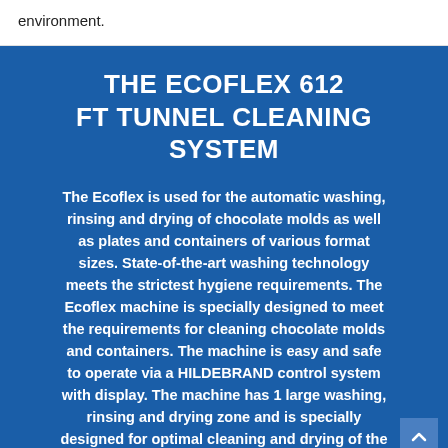environment.
THE ECOFLEX 612 FT TUNNEL CLEANING SYSTEM
The Ecoflex is used for the automatic washing, rinsing and drying of chocolate molds as well as plates and containers of various format sizes. State-of-the-art washing technology meets the strictest hygiene requirements. The Ecoflex machine is specially designed to meet the requirements for cleaning chocolate molds and containers. The machine is easy and safe to operate via a HILDEBRAND control system with display. The machine has 1 large washing, rinsing and drying zone and is specially designed for optimal cleaning and drying of the